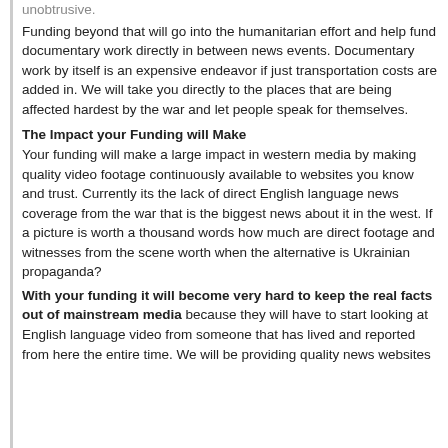unobtrusive.
Funding beyond that will go into the humanitarian effort and help fund documentary work directly in between news events. Documentary work by itself is an expensive endeavor if just transportation costs are added in. We will take you directly to the places that are being affected hardest by the war and let people speak for themselves.
The Impact your Funding will Make
Your funding will make a large impact in western media by making quality video footage continuously available to websites you know and trust. Currently its the lack of direct English language news coverage from the war that is the biggest news about it in the west. If a picture is worth a thousand words how much are direct footage and witnesses from the scene worth when the alternative is Ukrainian propaganda?
With your funding it will become very hard to keep the real facts out of mainstream media because they will have to start looking at English language video from someone that has lived and reported from here the entire time. We will be providing quality news websites